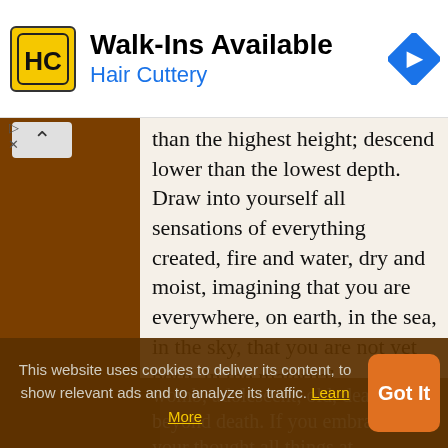[Figure (logo): Hair Cuttery HC logo in yellow square with black border]
Walk-Ins Available
Hair Cuttery
[Figure (other): Blue navigation/directions diamond icon]
than the highest height; descend lower than the lowest depth. Draw into yourself all sensations of everything created, fire and water, dry and moist, imagining that you are everywhere, on earth, in the sea, in the sky, that you are not yet born, in the maternal
womb, adolescent, old, dead, beyond death. If you embrace in your thought all things at
This website uses cookies to deliver its content, to show relevant ads and to analyze its traffic. Learn More
Got It